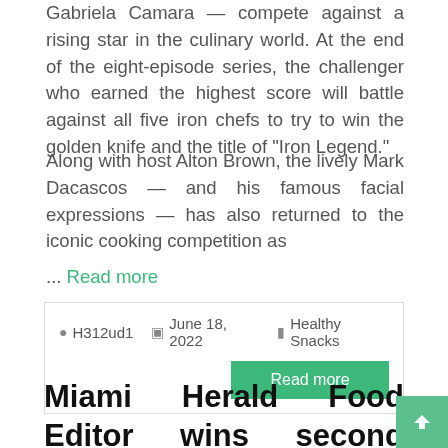Gabriela Camara — compete against a rising star in the culinary world. At the end of the eight-episode series, the challenger who earned the highest score will battle against all five iron chefs to try to win the golden knife and the title of "Iron Legend."
Along with host Alton Brown, the lively Mark Dacascos — and his famous facial expressions — has also returned to the iconic cooking competition as
... Read more
H312ud1   June 18, 2022   Healthy Snacks
Read more
Miami Herald Food Editor wins second James Beard Award